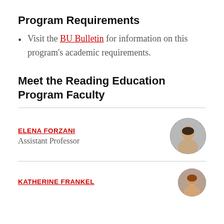Program Requirements
Visit the BU Bulletin for information on this program's academic requirements.
Meet the Reading Education Program Faculty
ELENA FORZANI
Assistant Professor
KATHERINE FRANKEL